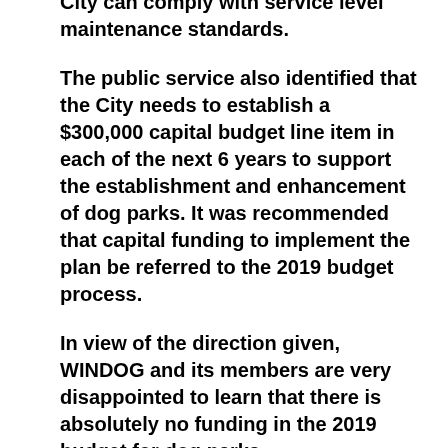$7,700 per hectare is required so the City can comply with service level maintenance standards.
The public service also identified that the City needs to establish a $300,000 capital budget line item in each of the next 6 years to support the establishment and enhancement of dog parks. It was recommended that capital funding to implement the plan be referred to the 2019 budget process.
In view of the direction given, WINDOG and its members are very disappointed to learn that there is absolutely no funding in the 2019 budget for dog parks.
After spending $100,000 to develop a framework for creating and managing regional, community and neighbourhood dog parks, the City